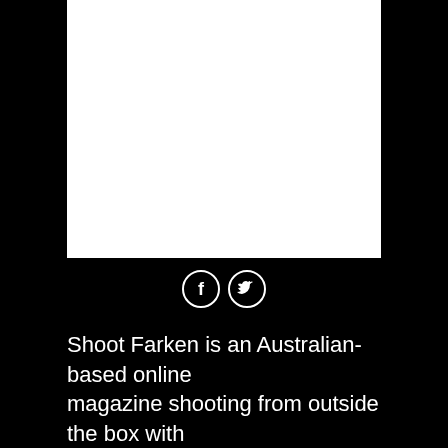[Figure (other): White rectangle on black background, representing an image placeholder]
[Figure (other): Two circular social media icons: Facebook (f) and Twitter (bird) on black background with white borders]
Shoot Farken is an Australian-based online magazine shooting from outside the box with quality writing on football, sport, popular